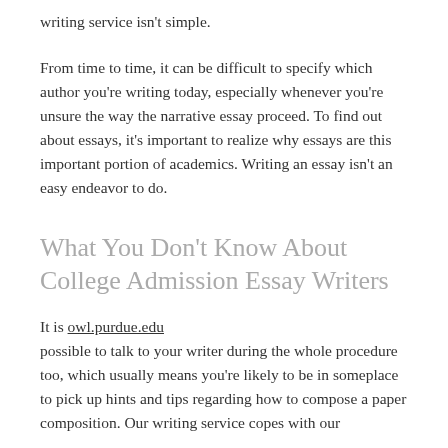writing service isn't simple.
From time to time, it can be difficult to specify which author you're writing today, especially whenever you're unsure the way the narrative essay proceed. To find out about essays, it's important to realize why essays are this important portion of academics. Writing an essay isn't an easy endeavor to do.
What You Don't Know About College Admission Essay Writers
It is owl.purdue.edu possible to talk to your writer during the whole procedure too, which usually means you're likely to be in someplace to pick up hints and tips regarding how to compose a paper composition. Our writing service copes with our